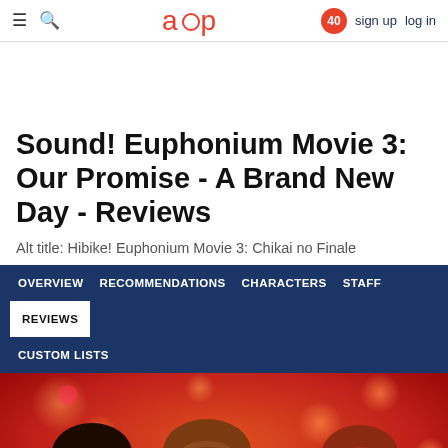≡ 🔍   a∪p   40   sign up  log in
Sound! Euphonium Movie 3: Our Promise - A Brand New Day - Reviews
Alt title: Hibike! Euphonium Movie 3: Chikai no Finale
OVERVIEW  RECOMMENDATIONS  CHARACTERS  STAFF  REVIEWS  CUSTOM LISTS
[Figure (illustration): Anime illustration showing three female characters with brown/dark hair against a warm red and orange bokeh background. The characters appear to be from Sound! Euphonium.]